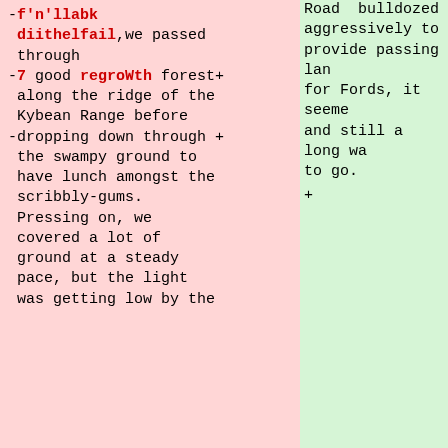-f'n'llabk diithelfail,we passed through
-7 good regroWth forest along the ridge of the Kybean Range before
-dropping down through the swampy ground to have lunch amongst the scribbly-gums. Pressing on, we covered a lot of ground at a steady pace, but the light was getting low by the
Road bulldozed aggressively to provide passing lan for Fords, it seeme and still a long wa to go.